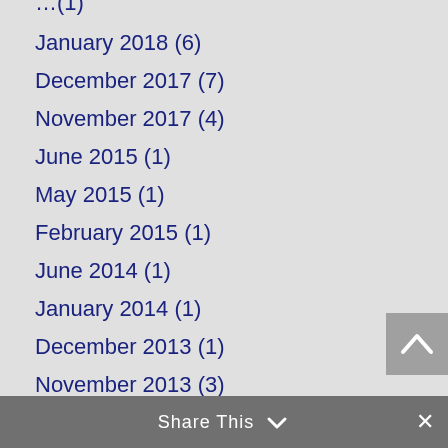January 2018 (6)
December 2017 (7)
November 2017 (4)
June 2015 (1)
May 2015 (1)
February 2015 (1)
June 2014 (1)
January 2014 (1)
December 2013 (1)
November 2013 (3)
October 2013 (4)
July 2013 (2)
June 2013 (1)
March 2013 (1)
Share This  ×